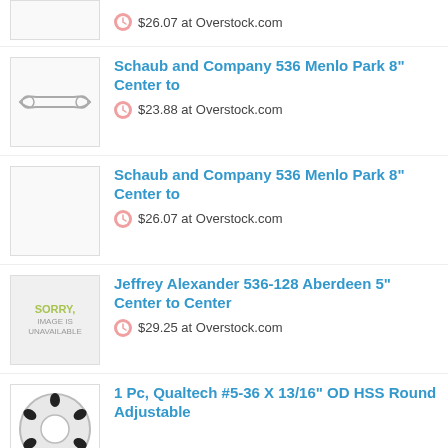$26.07 at Overstock.com
Schaub and Company 536 Menlo Park 8" Center to
$23.88 at Overstock.com
Schaub and Company 536 Menlo Park 8" Center to
$26.07 at Overstock.com
Jeffrey Alexander 536-128 Aberdeen 5" Center to Center
$29.25 at Overstock.com
1 Pc, Qualtech #5-36 X 13/16" OD HSS Round Adjustable